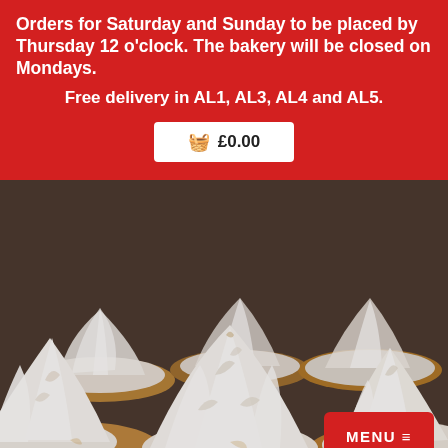Orders for Saturday and Sunday to be placed by Thursday 12 o'clock. The bakery will be closed on Mondays.
Free delivery in AL1, AL3, AL4 and AL5.
🧺 £0.00
[Figure (photo): Close-up photograph of multiple mini lemon meringue pies with tall swirled white meringue peaks, set against a dark background.]
MENU ≡